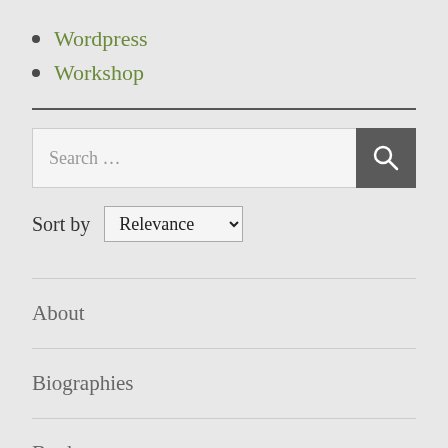Wordpress
Workshop
[Figure (other): Search bar with text 'Search ...' and a dark search button with magnifying glass icon]
Sort by Relevance
About
Biographies
Books